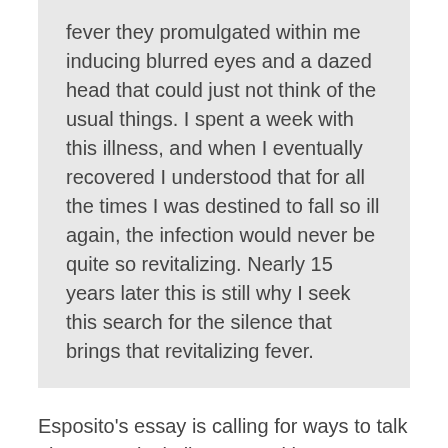fever they promulgated within me inducing blurred eyes and a dazed head that could just not think of the usual things. I spent a week with this illness, and when I eventually recovered I understood that for all the times I was destined to fall so ill again, the infection would never be quite so revitalizing. Nearly 15 years later this is still why I seek this search for the silence that brings that revitalizing fever.
Esposito's essay is calling for ways to talk about novelty in literature without resorting to the language